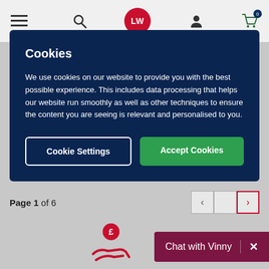[Figure (screenshot): Website header with hamburger menu, search icon, LW red circle logo, user icon, and shopping cart with badge showing 0]
Cookies
We use cookies on our website to provide you with the best possible experience. This includes data processing that helps our website run smoothly as well as other techniques to ensure the content you are seeing is relevant and personalised to you.
Cookie Settings
Accept Cookies
Page 1 of 6
[Figure (illustration): Red icon of person receiving money with pound sign, partial view at bottom]
Chat with Vinny  ×